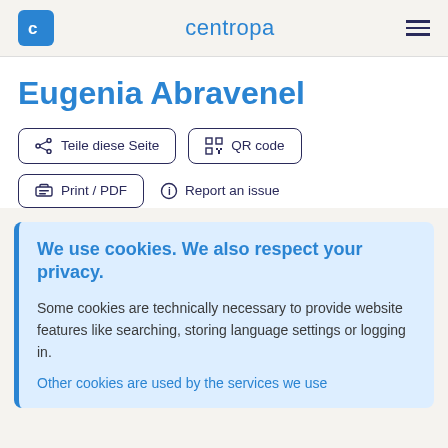centropa
Eugenia Abravenel
Teile diese Seite | QR code | Print / PDF | Report an issue
We use cookies. We also respect your privacy.
Some cookies are technically necessary to provide website features like searching, storing language settings or logging in.
Other cookies are used by the services we use